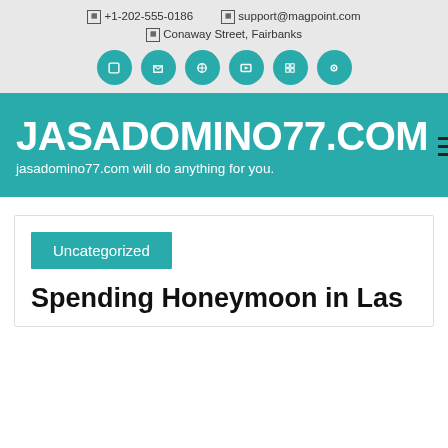+1-202-555-0186  support@magpoint.com  Conaway Street, Fairbanks
JASADOMINO77.COM
jasadomino77.com will do anything for you.
Uncategorized
Spending Honeymoon in Las